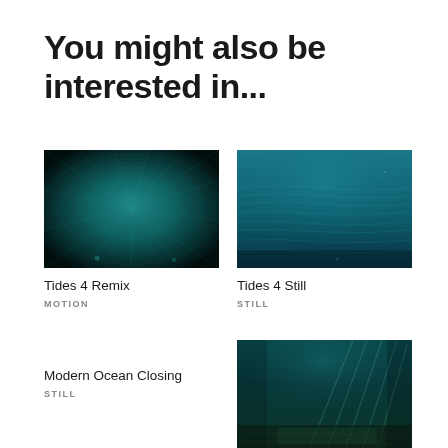You might also be interested in...
[Figure (photo): Underwater teal/teal ocean photo with radial light patterns, dark edges]
Tides 4 Remix
MOTION
[Figure (photo): Underwater ocean surface photo in blue-teal tones, calm water]
Tides 4 Still
STILL
Modern Ocean Closing
STILL
[Figure (photo): Underwater dark teal ocean scene with light rays and murky bottom]